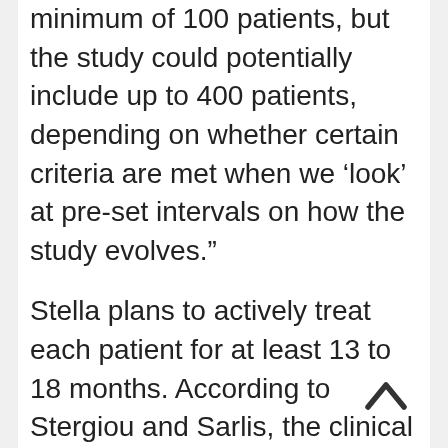minimum of 100 patients, but the study could potentially include up to 400 patients, depending on whether certain criteria are met when we ‘look’ at pre-set intervals on how the study evolves.”
Stella plans to actively treat each patient for at least 13 to 18 months. According to Stergiou and Sarlis, the clinical benefit induced by galinpepimut-S will be measured by overall survival by study’s end, but the trial will also measure time to disease relapse and rate of progression in patients. They estimate that patients receiving galinpepimut-S will live least eight months longer than